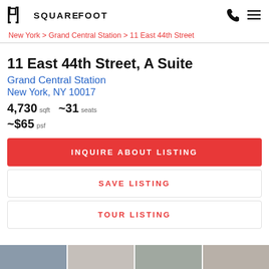SQUAREFOOT
New York > Grand Central Station > 11 East 44th Street
11 East 44th Street, A Suite
Grand Central Station
New York, NY 10017
4,730 sqft  ~31 seats
~$65 psf
INQUIRE ABOUT LISTING
SAVE LISTING
TOUR LISTING